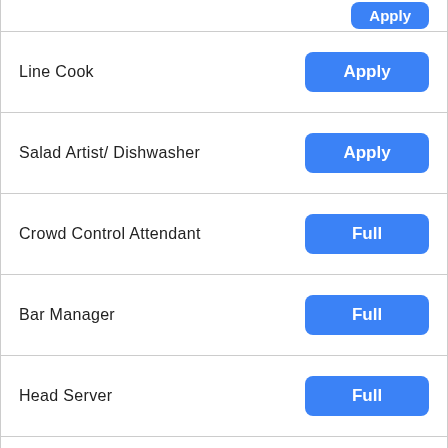| Job Title | Action |
| --- | --- |
| Line Cook | Apply |
| Salad Artist/ Dishwasher | Apply |
| Crowd Control Attendant | Full |
| Bar Manager | Full |
| Head Server | Full |
« Previous    Next »
MANAGEMENT/OFFICE